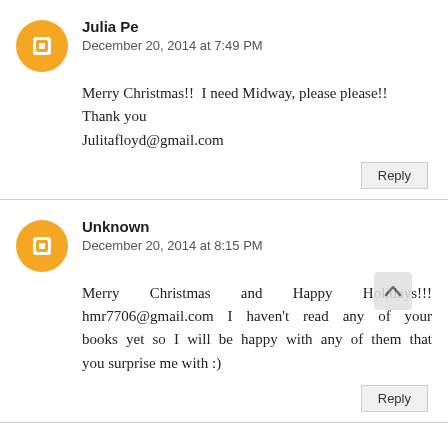Julia Pe
December 20, 2014 at 7:49 PM
Merry Christmas!! I need Midway, please please!! Thank you
Julitafloyd@gmail.com
Reply
Unknown
December 20, 2014 at 8:15 PM
Merry Christmas and Happy Holidays!!! hmr7706@gmail.com I haven't read any of your books yet so I will be happy with any of them that you surprise me with :)
Reply